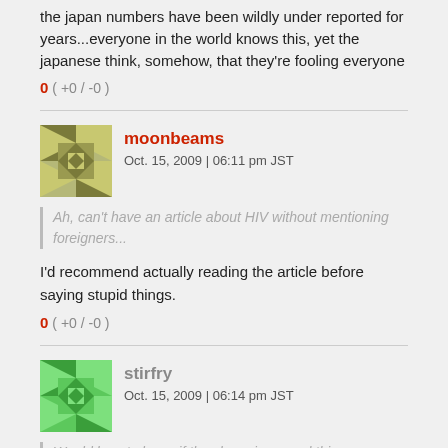the japan numbers have been wildly under reported for years...everyone in the world knows this, yet the japanese think, somehow, that they're fooling everyone
0 ( +0 / -0 )
moonbeams
Oct. 15, 2009 | 06:11 pm JST
[quote] Ah, can't have an article about HIV without mentioning foreigners...
I'd recommend actually reading the article before saying stupid things.
0 ( +0 / -0 )
stirfry
Oct. 15, 2009 | 06:14 pm JST
[quote] Would love to know if they have improved this.
with the japanese medical system, always assume 'no'